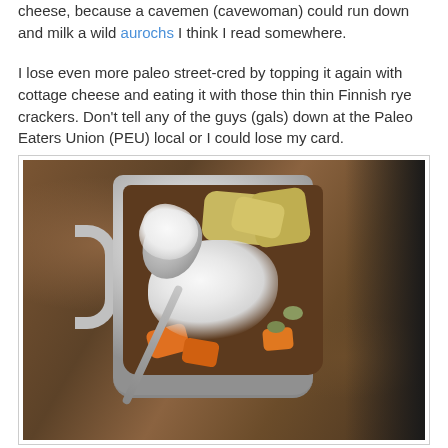cheese, because a cavemen (cavewoman) could run down and milk a wild aurochs I think I read somewhere.
I lose even more paleo street-cred by topping it again with cottage cheese and eating it with those thin thin Finnish rye crackers. Don't tell any of the guys (gals) down at the Paleo Eaters Union (PEU) local or I could lose my card.
[Figure (photo): A white ceramic mug filled with stew topped with cottage cheese, visible chunks of yellow potato, orange carrots, olives, with a spoon holding a scoop of cottage cheese resting in the mug, on a wooden surface.]